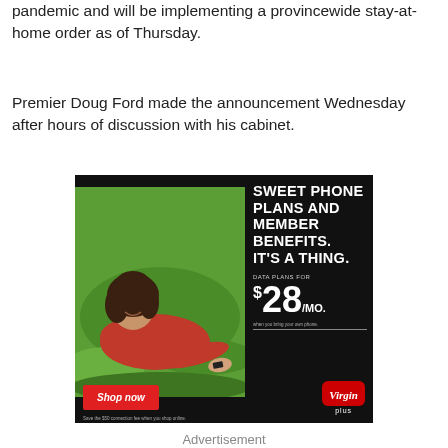pandemic and will be implementing a provincewide stay-at-home order as of Thursday.
Premier Doug Ford made the announcement Wednesday after hours of discussion with his cabinet.
[Figure (illustration): Virgin Plus advertisement showing a woman lying on grass holding a phone, with text 'Sweet phone plans and member benefits. It's a thing.' Data plans for $28/mo. Shop now button. Save the $50 connection fee when you shop online.]
Advertisement